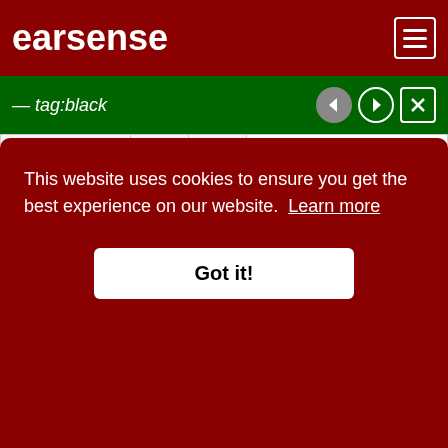earsense
— tag:black
|  |  |  |  |
| --- | --- | --- | --- |
|  |  |  | Quartetto concertans "Au gout du jour", No. 5 |
| pub. 1777-1779 | 31-34 | 9:00 | String Quartet in B-flat major, 6 Quartetto concertans "Au gout du jour", No. 6 |
| pub. 1773 | 27-28 | 5:00 | String |
This website uses cookies to ensure you get the best experience on our website. Learn more
Got it!